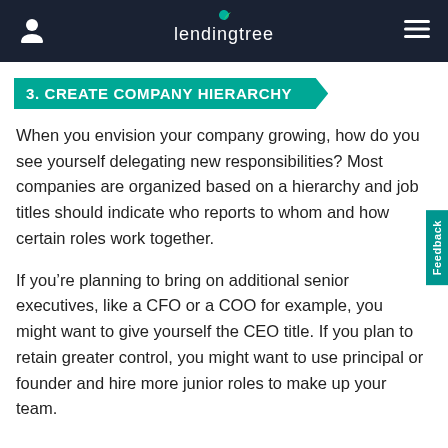lendingtree
3. CREATE COMPANY HIERARCHY
When you envision your company growing, how do you see yourself delegating new responsibilities? Most companies are organized based on a hierarchy and job titles should indicate who reports to whom and how certain roles work together.
If you're planning to bring on additional senior executives, like a CFO or a COO for example, you might want to give yourself the CEO title. If you plan to retain greater control, you might want to use principal or founder and hire more junior roles to make up your team.